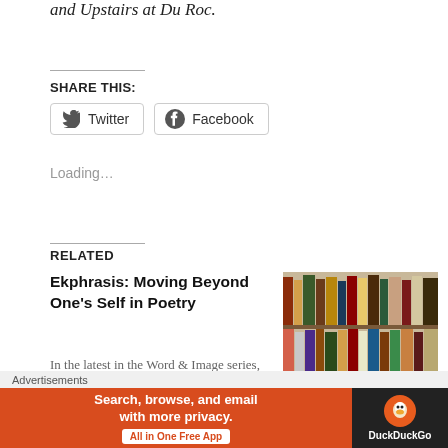and Upstairs at Du Roc.
SHARE THIS:
Twitter
Facebook
Loading...
RELATED
Ekphrasis: Moving Beyond One's Self in Poetry
In the latest in the Word & Image series, Marianne Sghh discusses the
[Figure (photo): Shelf of books with spines visible, various colors]
Poetry Tutoring at Long
Advertisements
[Figure (infographic): DuckDuckGo advertisement banner: Search, browse, and email with more privacy. All in One Free App]